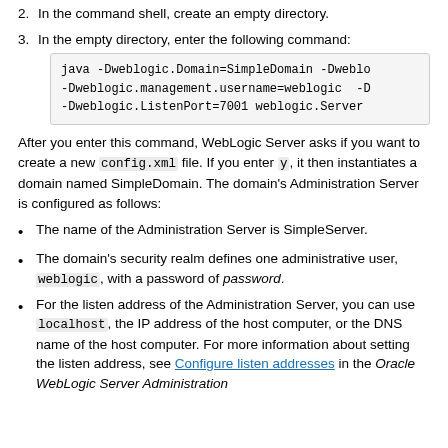In the command shell, create an empty directory.
In the empty directory, enter the following command:
java -Dweblogic.Domain=SimpleDomain -Dweblo
-Dweblogic.management.username=weblogic  -D
-Dweblogic.ListenPort=7001 weblogic.Server
After you enter this command, WebLogic Server asks if you want to create a new config.xml file. If you enter y, it then instantiates a domain named SimpleDomain. The domain's Administration Server is configured as follows:
The name of the Administration Server is SimpleServer.
The domain's security realm defines one administrative user, weblogic, with a password of password.
For the listen address of the Administration Server, you can use localhost, the IP address of the host computer, or the DNS name of the host computer. For more information about setting the listen address, see Configure listen addresses in the Oracle WebLogic Server Administration